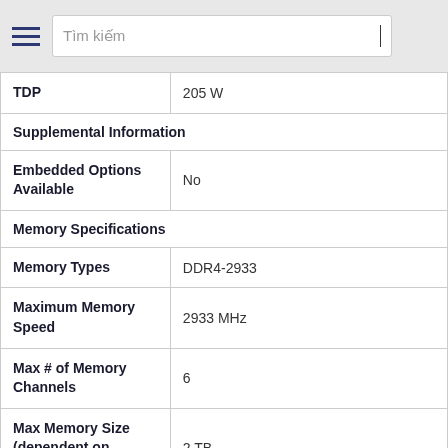Tìm kiếm
| TDP | 205 W |
| Supplemental Information |  |
| Embedded Options Available | No |
| Memory Specifications |  |
| Memory Types | DDR4-2933 |
| Maximum Memory Speed | 2933 MHz |
| Max # of Memory Channels | 6 |
| Max Memory Size (dependent on memory type) | 2 TB |
| ECC Memory Supported ‡ | Yes |